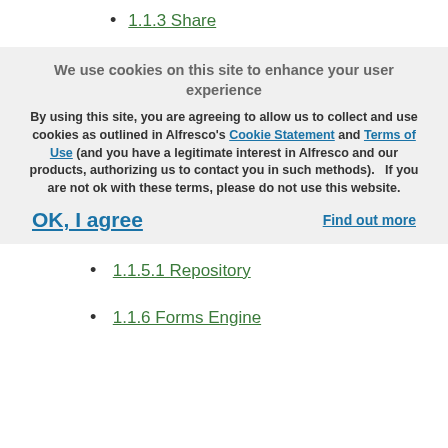1.1.3 Share
We use cookies on this site to enhance your user experience
By using this site, you are agreeing to allow us to collect and use cookies as outlined in Alfresco's Cookie Statement and Terms of Use (and you have a legitimate interest in Alfresco and our products, authorizing us to contact you in such methods).   If you are not ok with these terms, please do not use this website.
OK, I agree
Find out more
1.1.5.1 Repository
1.1.6 Forms Engine